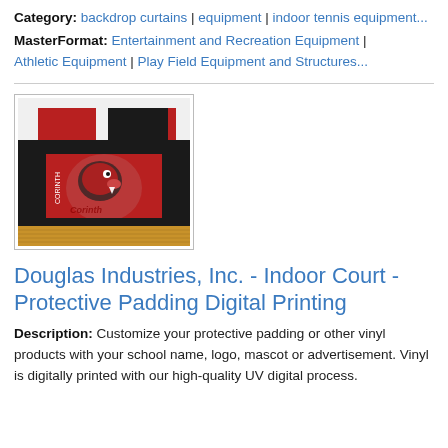Category: backdrop curtains | equipment | indoor tennis equipment...
MasterFormat: Entertainment and Recreation Equipment | Athletic Equipment | Play Field Equipment and Structures...
[Figure (photo): Photo of indoor gymnasium with red and black protective wall padding panels branded with 'CORINTH DRAGONS' team name and dragon mascot logo, above a basketball court wood floor.]
Douglas Industries, Inc. - Indoor Court - Protective Padding Digital Printing
Description: Customize your protective padding or other vinyl products with your school name, logo, mascot or advertisement. Vinyl is digitally printed with our high-quality UV digital process.